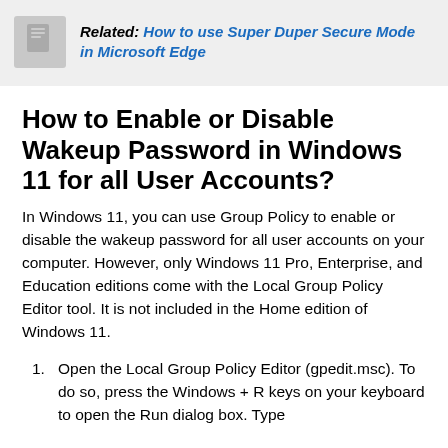Related: How to use Super Duper Secure Mode in Microsoft Edge
How to Enable or Disable Wakeup Password in Windows 11 for all User Accounts?
In Windows 11, you can use Group Policy to enable or disable the wakeup password for all user accounts on your computer. However, only Windows 11 Pro, Enterprise, and Education editions come with the Local Group Policy Editor tool. It is not included in the Home edition of Windows 11.
Open the Local Group Policy Editor (gpedit.msc). To do so, press the Windows + R keys on your keyboard to open the Run dialog box. Type ...